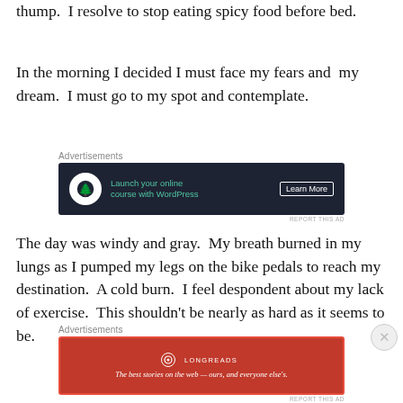thump.  I resolve to stop eating spicy food before bed.
In the morning I decided I must face my fears and  my dream.  I must go to my spot and contemplate.
[Figure (other): Advertisement banner: dark navy background with tree/bonsai icon circle, teal text 'Launch your online course with WordPress', white bordered 'Learn More' button]
The day was windy and gray.  My breath burned in my lungs as I pumped my legs on the bike pedals to reach my destination.  A cold burn.  I feel despondent about my lack of exercise.  This shouldn't be nearly as hard as it seems to be.
[Figure (other): Advertisement banner: red background with Longreads logo and tagline 'The best stories on the web — ours, and everyone else's.']